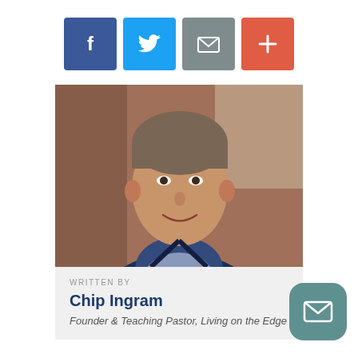[Figure (infographic): Social sharing buttons row: Facebook (blue), Twitter (light blue), Email (gray), Plus/More (red-orange)]
[Figure (photo): Portrait photo of Chip Ingram, a middle-aged man with gray-brown hair wearing a navy blue jacket over a plaid shirt, smiling, with a warm blurred background]
WRITTEN BY
Chip Ingram
Founder & Teaching Pastor, Living on the Edge
[Figure (infographic): Floating teal rounded-square email icon button in bottom-right corner]